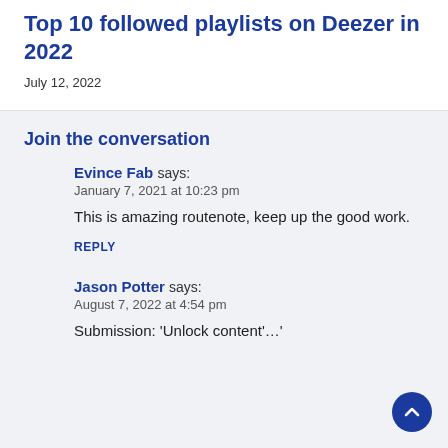Top 10 followed playlists on Deezer in 2022
July 12, 2022
Join the conversation
Evince Fab says:
January 7, 2021 at 10:23 pm

This is amazing routenote, keep up the good work.

REPLY
Jason Potter says:
August 7, 2022 at 4:54 pm

Submission: 'Unlock content'…'